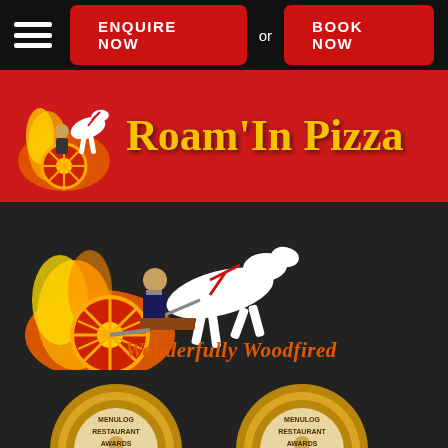ENQUIRE NOW or BOOK NOW
Roam'In Pizza
[Figure (logo): Roam'In Pizza logo: Roman chariot pulled by white horse with flames and 'Wonderfully Woodfired' tagline]
Wonderfully Woodfired
[Figure (illustration): Menulog Restaurant Awards Winner medal (left)]
[Figure (illustration): Menulog Restaurant Awards Winner medal (right)]